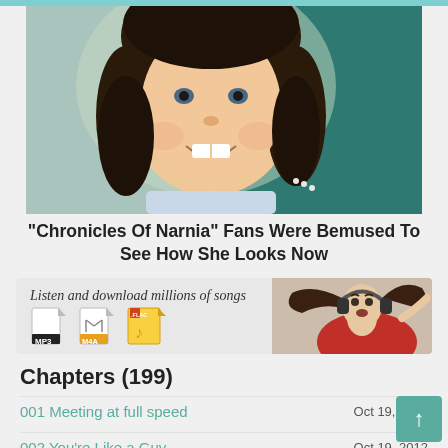[Figure (photo): Portrait photo of a young girl with curly dark hair, smiling, wearing a light blue dress, against a green background]
"Chronicles Of Narnia" Fans Were Bemused To See How She Looks Now
[Figure (infographic): Advertisement banner: Listen and download millions of songs, with MP3, M4A, FLAC file icons and a girl wearing headphones]
Chapters (199)
001 Meeting at full speed — Oct 19, 2012
002 You're Like a Guy — Oct 19, 2012